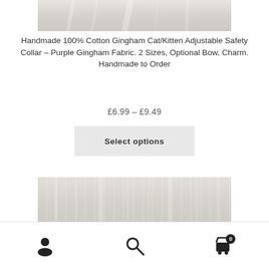[Figure (photo): Top portion of a fabric/collar product photo showing white/cream textured fabric]
Handmade 100% Cotton Gingham Cat/Kitten Adjustable Safety Collar – Purple Gingham Fabric. 2 Sizes, Optional Bow, Charm. Handmade to Order
£6.99 – £9.49
Select options
[Figure (photo): Bottom portion of a fabric/collar product photo showing cream/beige textured fabric]
User icon | Search icon | Cart icon with 0 badge